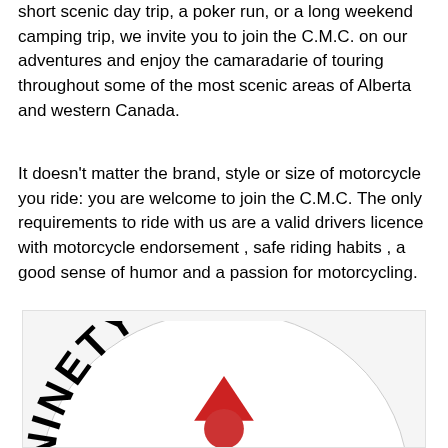short scenic day trip, a poker run, or a long weekend camping trip, we invite you to join the C.M.C. on our adventures and enjoy the camaradarie of touring throughout some of the most scenic areas of Alberta and western Canada.
It doesn't matter the brand, style or size of motorcycle you ride: you are welcome to join the C.M.C. The only requirements to ride with us are a valid drivers licence with motorcycle endorsement , safe riding habits , a good sense of humor and a passion for motorcycling.
[Figure (logo): Partial view of a circular logo with the text 'NINETY YEAR' along the top arc, a red triangle and red circle in the center, on a light grey background. The bottom of the logo is cut off.]